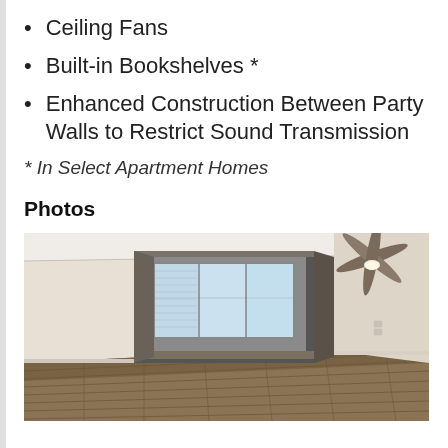Ceiling Fans
Built-in Bookshelves *
Enhanced Construction Between Party Walls to Restrict Sound Transmission
* In Select Apartment Homes
Photos
[Figure (photo): Interior photo of an empty apartment room with wood-look flooring, cream-colored walls, crown molding, a ceiling fan with light fixture, and a recessed alcove with windows showing natural light.]